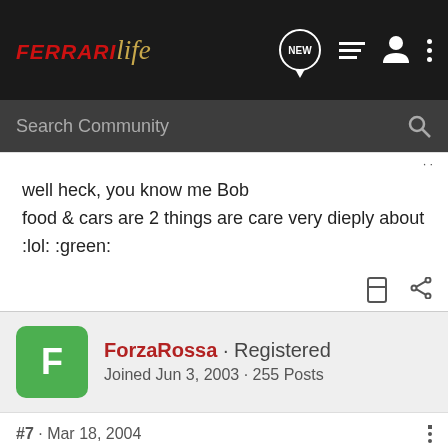Ferrari Life · Search Community
well heck, you know me Bob
food & cars are 2 things are care very dieply about :lol: :green:
ForzaRossa · Registered · Joined Jun 3, 2003 · 255 Posts
#7 · Mar 18, 2004